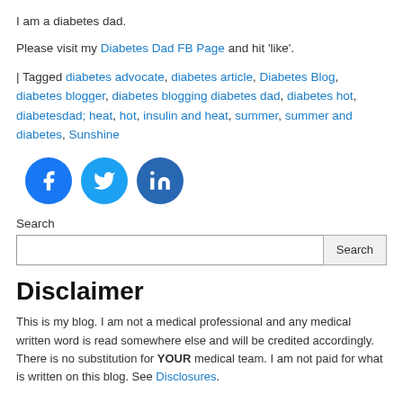I am a diabetes dad.
Please visit my Diabetes Dad FB Page and hit 'like'.
| Tagged diabetes advocate, diabetes article, Diabetes Blog, diabetes blogger, diabetes blogging diabetes dad, diabetes hot, diabetesdad; heat, hot, insulin and heat, summer, summer and diabetes, Sunshine
[Figure (illustration): Three social media icon circles: Facebook (dark blue), Twitter (light blue), LinkedIn (medium blue)]
Search
Search [input field] [Search button]
Disclaimer
This is my blog. I am not a medical professional and any medical written word is read somewhere else and will be credited accordingly. There is no substitution for YOUR medical team. I am not paid for what is written on this blog. See Disclosures.